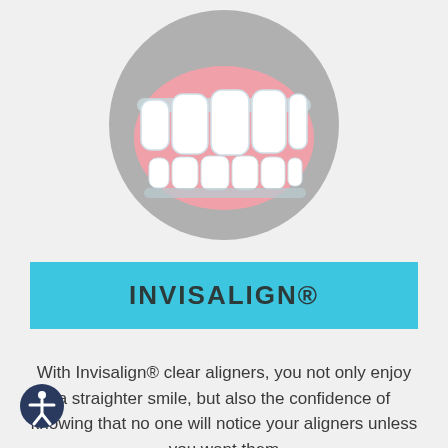[Figure (illustration): Circular gray icon showing a close-up illustration of a mouth with white teeth aligned and pink gums, representing dental alignment/Invisalign treatment.]
INVISALIGN®
With Invisalign® clear aligners, you not only enjoy a straighter smile, but also the confidence of knowing that no one will notice your aligners unless you want them to.